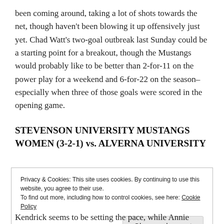been coming around, taking a lot of shots towards the net, though haven't been blowing it up offensively just yet. Chad Watt's two-goal outbreak last Sunday could be a starting point for a breakout, though the Mustangs would probably like to be better than 2-for-11 on the power play for a weekend and 6-for-22 on the season– especially when three of those goals were scored in the opening game.
STEVENSON UNIVERSITY MUSTANGS WOMEN (3-2-1) vs. ALVERNA UNIVERSITY
Privacy & Cookies: This site uses cookies. By continuing to use this website, you agree to their use.
To find out more, including how to control cookies, see here: Cookie Policy
Kendrick seems to be setting the pace, while Annie